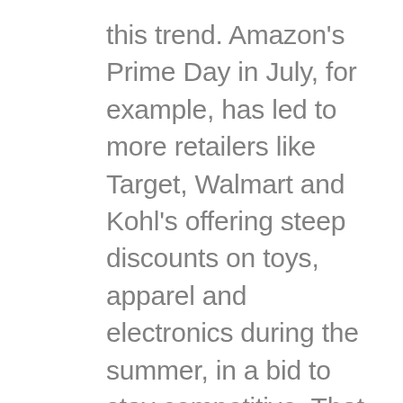this trend. Amazon's Prime Day in July, for example, has led to more retailers like Target, Walmart and Kohl's offering steep discounts on toys, apparel and electronics during the summer, in a bid to stay competitive. That pulls shoppers' dollars forward and away from November and December. … The one issue retailers should we wary of — if this trend tracked by Coresight holds true — is ending up with too much inventory on their hands after the holiday season, if